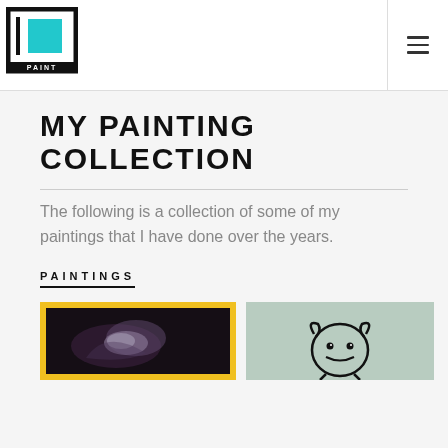[Figure (logo): ID Paint logo: square bracket style frame with teal/cyan square inside, text PAINT below]
MY PAINTING COLLECTION
The following is a collection of some of my paintings that I have done over the years.
PAINTINGS
[Figure (photo): Dark painting with purple/lavender tones in a yellow frame]
[Figure (photo): Simple line drawing of a dog/otter face on light teal background]